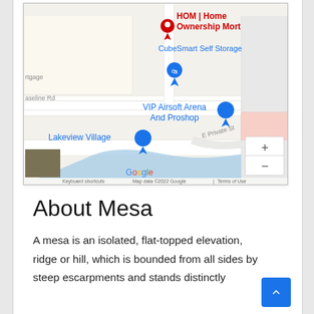[Figure (map): Google Maps screenshot showing HOM | Home Ownership Mortgage location, CubeSmart Self Storage, VIP Airsoft Arena And Proshop, Lakeview Village, E Private St, with zoom controls and Google branding. Map data ©2022 Google.]
About Mesa
A mesa is an isolated, flat-topped elevation, ridge or hill, which is bounded from all sides by steep escarpments and stands distinctly